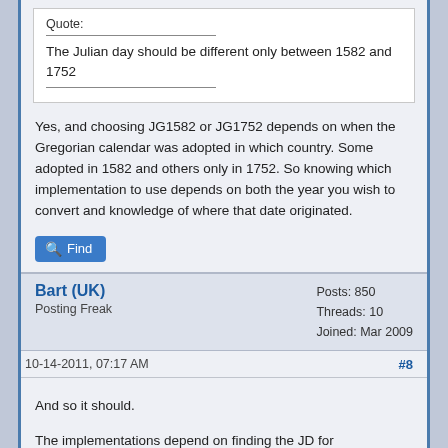Quote:
The Julian day should be different only between 1582 and 1752
Yes, and choosing JG1582 or JG1752 depends on when the Gregorian calendar was adopted in which country. Some adopted in 1582 and others only in 1752. So knowing which implementation to use depends on both the year you wish to convert and knowledge of where that date originated.
Find
Bart (UK)
Posting Freak
Posts: 850
Threads: 10
Joined: Mar 2009
10-14-2011, 07:17 AM
#8
And so it should.
The implementations depend on finding the JD for